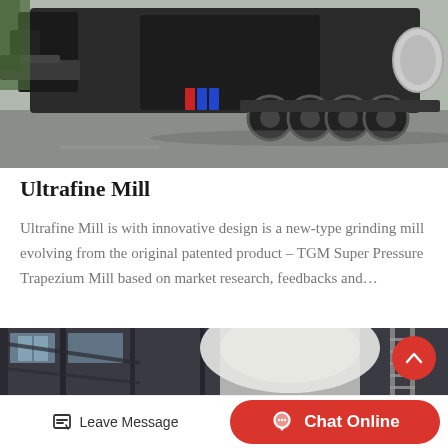[Figure (photo): Large black heavy-duty mobile jaw crusher / industrial machinery on a flatbed trailer, parked on asphalt, with green foliage and other equipment visible in the background.]
Ultrafine Mill
Ultrafine Mill is with innovative design is a new-type grinding mill evolving from the original patented product – TGM Super Pressure Trapezium Mill based on market research, feedbacks and…
[Figure (photo): Industrial facility interior showing structural steel framing, large white cylindrical equipment, and ladders, viewed from below in low-light conditions.]
Leave Message
Chat Online